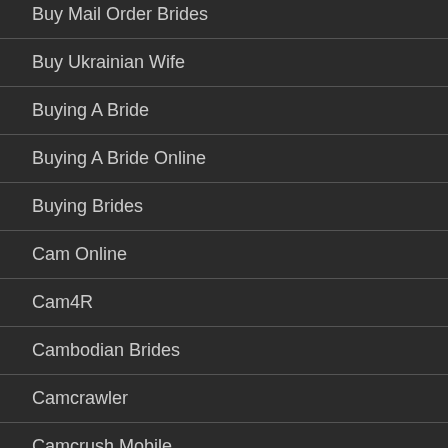Buy Mail Order Brides
Buy Ukrainian Wife
Buying A Bride
Buying A Bride Online
Buying Brides
Cam Online
Cam4R
Cambodian Brides
Camcrawler
Camcrush Mobile
Camfuze Ebony
Cambodian Milf